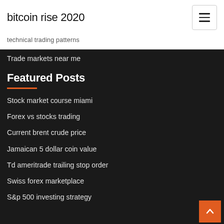bitcoin rise 2020
technical trading patterns
Trade markets near me
Featured Posts
Stock market course miami
Forex vs stocks trading
Current brent crude price
Jamaican 5 dollar coin value
Td ameritrade trailing stop order
Swiss forex marketplace
S&p 500 investing strategy